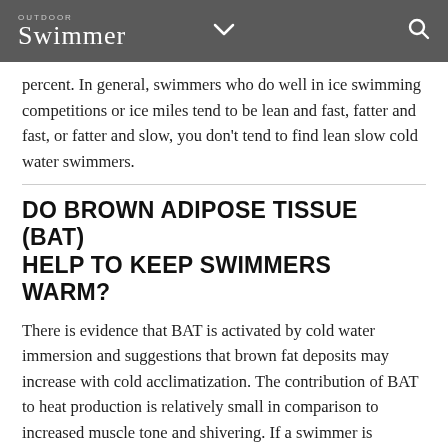Outdoor Swimmer
percent. In general, swimmers who do well in ice swimming competitions or ice miles tend to be lean and fast, fatter and fast, or fatter and slow, you don't tend to find lean slow cold water swimmers.
DO BROWN ADIPOSE TISSUE (BAT) HELP TO KEEP SWIMMERS WARM?
There is evidence that BAT is activated by cold water immersion and suggestions that brown fat deposits may increase with cold acclimatization. The contribution of BAT to heat production is relatively small in comparison to increased muscle tone and shivering. If a swimmer is acclimatized they are likely to be more thermally comfortable and have a hypothermic adaptation, where deep body temperature falls without shivering to maintain it. Only once the deep body temperature falls to